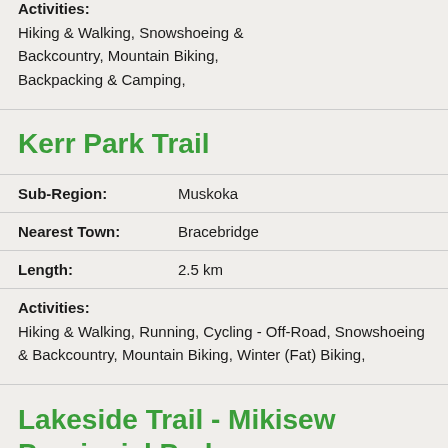Activities: Hiking & Walking, Snowshoeing & Backcountry, Mountain Biking, Backpacking & Camping,
Kerr Park Trail
| Field | Value |
| --- | --- |
| Sub-Region: | Muskoka |
| Nearest Town: | Bracebridge |
| Length: | 2.5 km |
Activities: Hiking & Walking, Running, Cycling - Off-Road, Snowshoeing & Backcountry, Mountain Biking, Winter (Fat) Biking,
Lakeside Trail - Mikisew Provincial Park